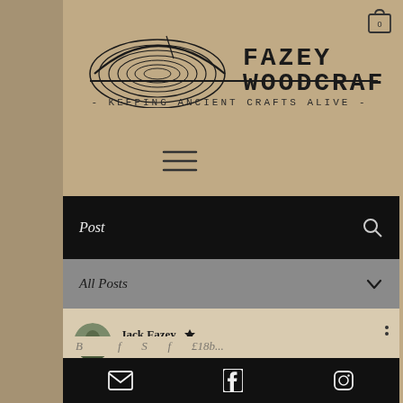[Figure (logo): Fazey Woodcraft logo with tree ring illustration and hand-drawn text. Tagline: Keeping Ancient Crafts Alive]
FAZEY WOODCRAFT
- KEEPING ANCIENT CRAFTS ALIVE -
[Figure (illustration): Hamburger menu icon (three horizontal lines)]
Post
All Posts
Jack Fazey  Feb 25, 2021  ·  6 min
Email, Facebook, Instagram social icons